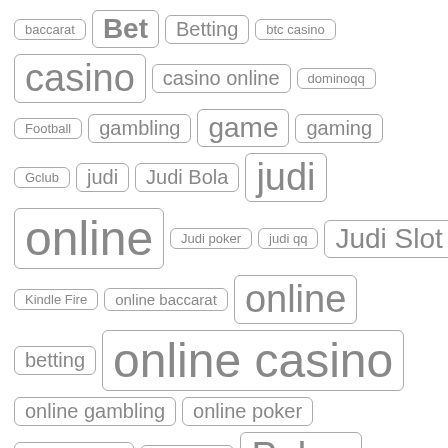[Figure (infographic): Tag cloud with gambling/gaming related keywords displayed as pill-shaped tags of varying font sizes, arranged in rows. Tags include: baccarat, Bet, Betting, btc casino, casino, casino online, dominoqq, Football, gambling, game, gaming, Gclub, judi, Judi Bola, judi online, Judi poker, judi qq, Judi Slot, Kindle Fire, online baccarat, online betting, online casino, online gambling, online poker, Online Slot, pkv games, Poker, poker online, QQ Online, sagaming, sa gaming, sbobet, sbobet88, situs judi]